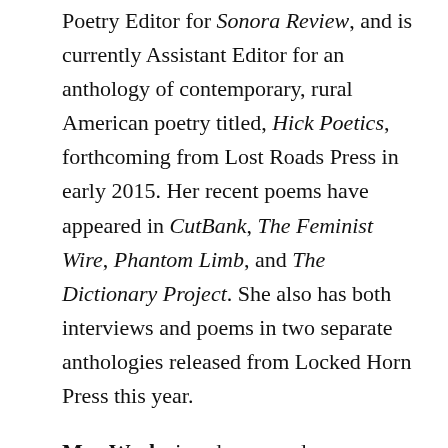Poetry Editor for Sonora Review, and is currently Assistant Editor for an anthology of contemporary, rural American poetry titled, Hick Poetics, forthcoming from Lost Roads Press in early 2015. Her recent poems have appeared in CutBank, The Feminist Wire, Phantom Limb, and The Dictionary Project. She also has both interviews and poems in two separate anthologies released from Locked Horn Press this year.
Meg Weeks is a dancer and choreographer based in New York City. A native of New Hampshire, she holds a BA in history from Brown University and has performed with Shen Wei Dance Arts, The Metropolitan Opera Ballet, Summation Dance, and Helen Simoneau Danse. She has presented her choreography at various venues in New York City